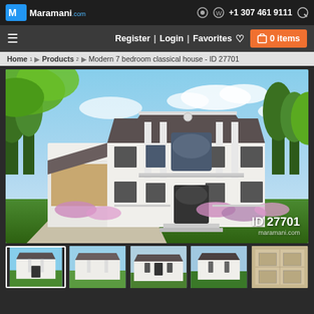Maramani.com | +1 307 461 9111
Register | Login | Favorites   0 items
Home 1 > Products 2 > Modern 7 bedroom classical house - ID 27701
[Figure (photo): Exterior rendering of a large white two-story classical house with columns, dark roof, attached garage, landscaped garden with colorful flowers and green lawn. ID 27701 watermark visible.]
[Figure (photo): Thumbnail 1: same house front view - selected/active]
[Figure (photo): Thumbnail 2: slightly different angle of the house]
[Figure (photo): Thumbnail 3: another exterior view]
[Figure (photo): Thumbnail 4: another exterior view]
[Figure (photo): Thumbnail 5: floor plan or detail view (darker/brownish)]